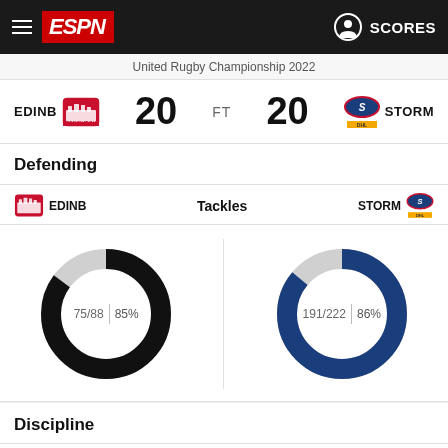ESPN — SCORES
United Rugby Championship 2022
EDINB 20 FT 20 STORM
Defending
EDINB — Tackles — STORM
[Figure (donut-chart): EDINB Tackles]
[Figure (donut-chart): STORM Tackles]
Discipline